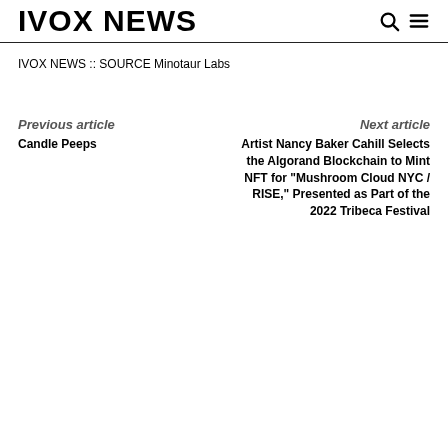IVOX NEWS
IVOX NEWS :: SOURCE Minotaur Labs
Previous article
Candle Peeps
Next article
Artist Nancy Baker Cahill Selects the Algorand Blockchain to Mint NFT for "Mushroom Cloud NYC / RISE," Presented as Part of the 2022 Tribeca Festival